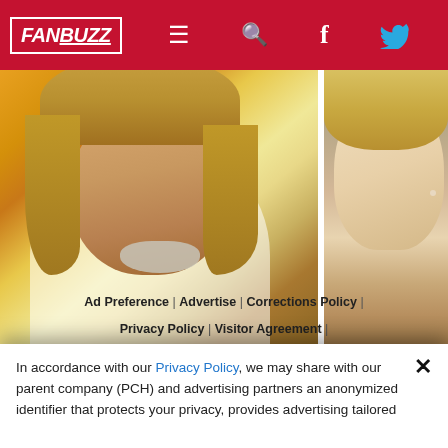FANBUZZ
[Figure (photo): Left: Man with long brown hair and grey goatee smiling, wearing white shirt, against orange and yellow background. Right: Blonde woman partial view.]
K... Le...
Fa...
In accordance with our Privacy Policy, we may share with our parent company (PCH) and advertising partners an anonymized identifier that protects your privacy, provides advertising tailored
Ad Preference | Advertise | Corrections Policy | Privacy Policy | Visitor Agreement | Do Not Sell My Personal Information